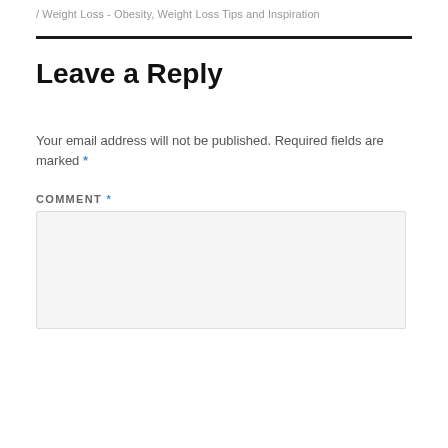/ Weight Loss - Obesity, Weight Loss Tips and Inspiration
Leave a Reply
Your email address will not be published. Required fields are marked *
COMMENT *
[Figure (other): Empty comment text area input box with light gray background]